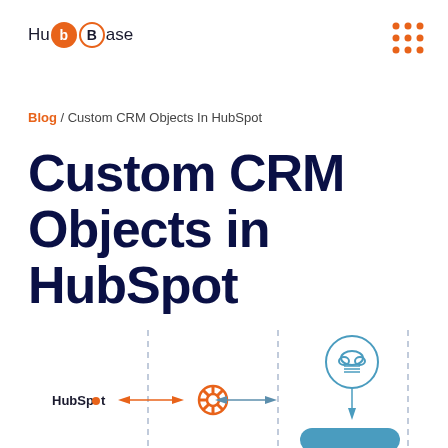[Figure (logo): HubBase logo: 'Hu' followed by orange circle with 'b', white bordered circle with 'B', then 'ase']
[Figure (other): 3x3 orange dots grid icon in top right]
Blog / Custom CRM Objects In HubSpot
Custom CRM Objects in HubSpot
[Figure (flowchart): Partial diagram showing HubSpot logo connected via arrows to HubSpot sprocket icon, then to a cloud/server icon in a circle, with dashed vertical and horizontal lines forming a grid, and an orange/blue rounded rectangle partially visible at bottom right]